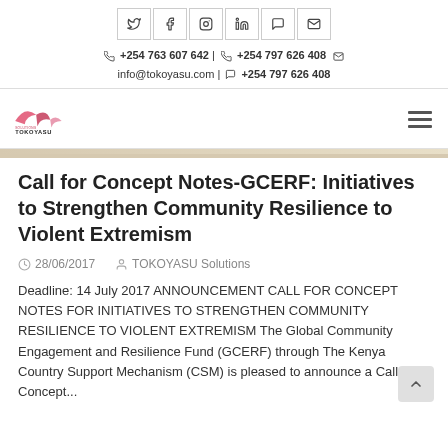Social icons: Twitter, Facebook, Instagram, LinkedIn, Skype, Email
+254 763 607 642 | +254 797 626 408  info@tokoyasu.com | +254 797 626 408
[Figure (logo): Tokoyasu Solutions logo with red and black text]
Call for Concept Notes-GCERF: Initiatives to Strengthen Community Resilience to Violent Extremism
28/06/2017   TOKOYASU Solutions
Deadline: 14 July 2017 ANNOUNCEMENT CALL FOR CONCEPT NOTES FOR INITIATIVES TO STRENGTHEN COMMUNITY RESILIENCE TO VIOLENT EXTREMISM The Global Community Engagement and Resilience Fund (GCERF) through The Kenya Country Support Mechanism (CSM) is pleased to announce a Call for Concept...